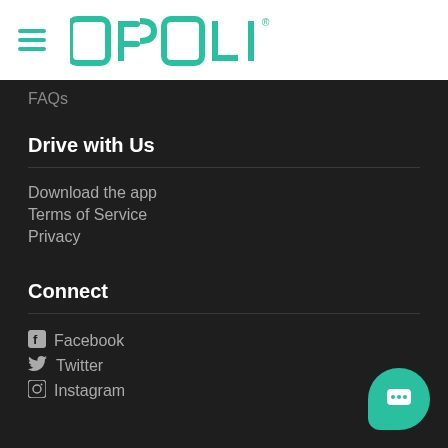[Figure (logo): OPOLI logo with hamburger menu icon in teal on white header]
FAQs
Drive with Us
Download the app
Terms of Service
Privacy
Connect
Facebook
Twitter
Instagram